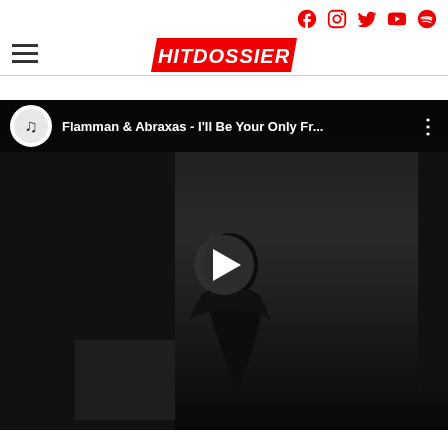HITDOSSIER — website header with social icons (Facebook, Instagram, Twitter, YouTube, Spotify) and hamburger menu
[Figure (screenshot): YouTube embedded video player showing 'Flamman & Abraxas - I'll Be Your Only Fr...' with a dark silhouetted figure and a play button in the center]